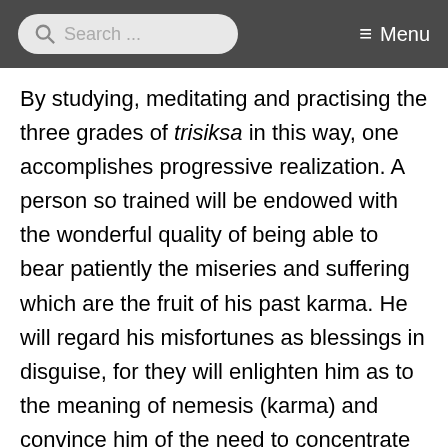Search ... Menu
By studying, meditating and practising the three grades of trisiksa in this way, one accomplishes progressive realization. A person so trained will be endowed with the wonderful quality of being able to bear patiently the miseries and suffering which are the fruit of his past karma. He will regard his misfortunes as blessings in disguise, for they will enlighten him as to the meaning of nemesis (karma) and convince him of the need to concentrate on performing only meritorious deeds. If his past (evil) karma has not as yet borne fruit, it will still be possible for him to obliterate this unripe karma by utilizing the strength of the four powers, namely: determination to attain the status of Buddhahood;